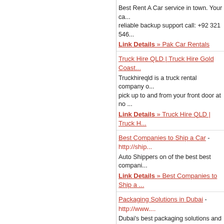Best Rent A Car service in town. Your ca... reliable backup support call: +92 321 546...
Link Details » Pak Car Rentals
Truck Hire QLD | Truck Hire Gold Coast...
Truckhireqld is a truck rental company o... pick up to and from your front door at no ...
Link Details » Truck Hire QLD | Truck H...
Best Companies to Ship a Car - http://ship...
Auto Shippers on of the best best compani...
Link Details » Best Companies to Ship a ...
Packaging Solutions in Dubai - http://www....
Dubai's best packaging solutions and serv... protection, packaging machines and handl...
Link Details » Packaging Solutions in Du...
Fiddle with our family - the most suitable ... to buy them - http://www.galinabovina.ru/...
dinar casino over the internet On line casi...
Link Details » Fiddle with our family - th... waiting you ahead to buy them
Car Hire International - http://www.car-hi...
Car Hire International finds you best price... now
Link Details » Car Hire International
Covington Towing and Wrecker - Farbe's...
Towing and Wrecker Services for Coving...